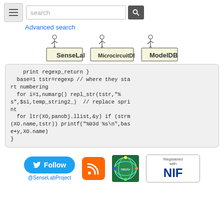[Figure (screenshot): Navigation bar with hamburger menu, search box with placeholder 'search', search button, and 'Advanced search' link below]
[Figure (logo): Three logos in a row: SenseLab, MicrocircuitDB, ModelDB - each with SIMLAB strip and figure illustration]
[Figure (screenshot): Code block showing NEURON/HOC code snippet with print, base assignment, for loops with regexp string replacement and printf]
[Figure (logo): Footer row with Twitter Follow button (@SenseLabProject), RSS feed icon, neuroscience badge, and NIF registration badge]